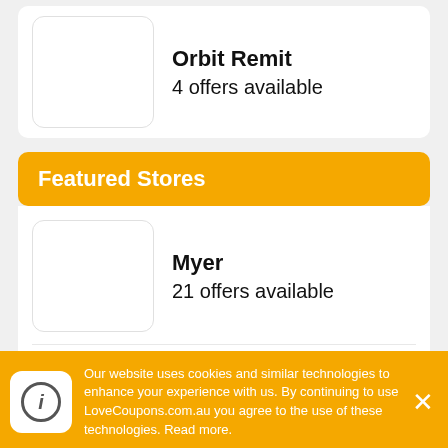Orbit Remit
4 offers available
Featured Stores
Myer
21 offers available
JD Sports
9 offers available
Our website uses cookies and similar technologies to enhance your experience with us. By continuing to use LoveCoupons.com.au you agree to the use of these technologies. Read more.